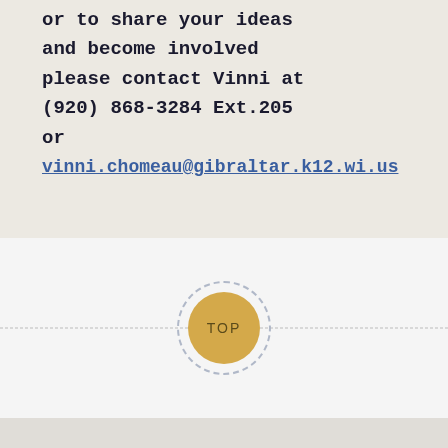or to share your ideas and become involved please contact Vinni at (920) 868-3284 Ext.205 or vinni.chomeau@gibraltar.k12.wi.us
[Figure (other): A circular 'TOP' button with gold/yellow fill and dashed circular border, centered on a horizontal dashed line, used as a back-to-top navigation element.]
CONTACT US
View Full Site